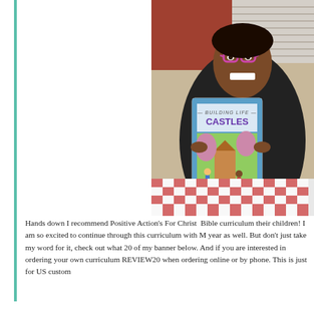[Figure (photo): A smiling young Black girl wearing pink glasses holding up a children's Bible curriculum book titled 'Building Life Castles' (Positive Action for Christ). She is seated at a table with a red and white checkered tablecloth.]
Hands down I recommend Positive Action's For Christ Bible curriculum their children! I am so excited to continue through this curriculum with M year as well. But don't just take my word for it, check out what 20 of my banner below. And if you are interested in ordering your own curriculum REVIEW20 when ordering online or by phone. This is just for US custom